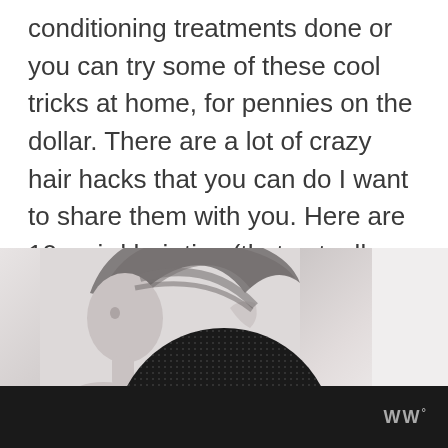conditioning treatments done or you can try some of these cool tricks at home, for pennies on the dollar. There are a lot of crazy hair hacks that you can do I want to share them with you. Here are 10 weird hair tips (that actually work).....
[Figure (photo): A woman holding up her long dark hair against a light background, with a large black circle overlay at the bottom containing a dotted texture pattern and partial text '10 WEIRD']